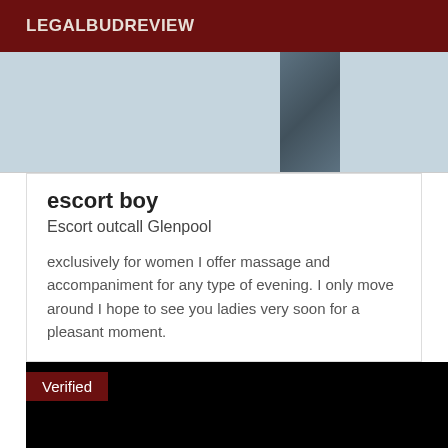LEGALBUDREVIEW
[Figure (photo): A cropped photo showing a person's torso in a light grey shirt with a dark diagonal strap or bag across their chest.]
escort boy
Escort outcall Glenpool
exclusively for women I offer massage and accompaniment for any type of evening. I only move around I hope to see you ladies very soon for a pleasant moment.
[Figure (photo): A mostly black image with a 'Verified' badge label in the upper-left corner against a dark red background.]